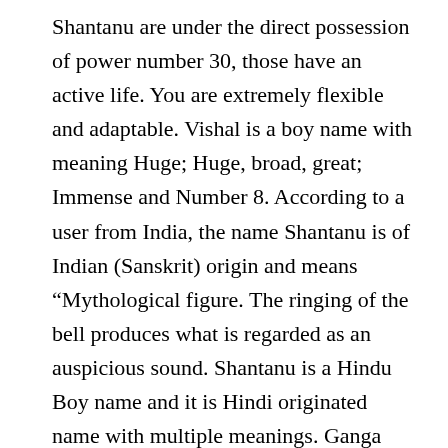Shantanu are under the direct possession of power number 30, those have an active life. You are extremely flexible and adaptable. Vishal is a boy name with meaning Huge; Huge, broad, great; Immense and Number 8. According to a user from India, the name Shantanu is of Indian (Sanskrit) origin and means "Mythological figure. The ringing of the bell produces what is regarded as an auspicious sound. Shantanu is a Hindu Boy name and it is Hindi originated name with multiple meanings. Ganga and Satyavati. Know Rashi, Nakshatra, Numerology, Religion, Gender, Similar Names and Variant Names for name Chintan. Shantanu name meaning,